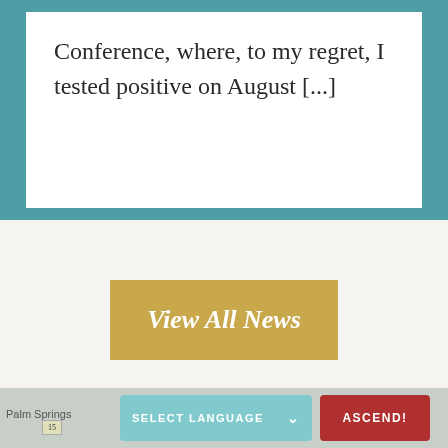Conference, where, to my regret, I tested positive on August [...]
View All News
SELECT LANGUAGE
ASCEND!